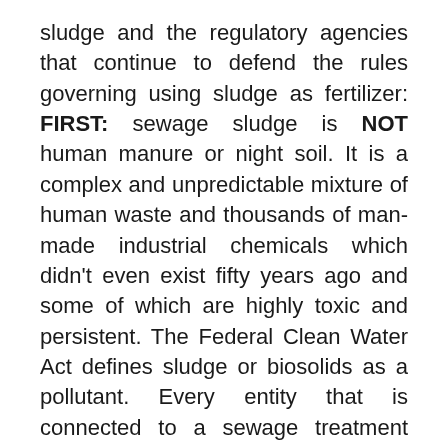sludge and the regulatory agencies that continue to defend the rules governing using sludge as fertilizer: FIRST: sewage sludge is NOT human manure or night soil. It is a complex and unpredictable mixture of human waste and thousands of man-made industrial chemicals which didn't even exist fifty years ago and some of which are highly toxic and persistent. The Federal Clean Water Act defines sludge or biosolids as a pollutant. Every entity that is connected to a sewage treatment plant is permitted, every month, to discharge 33 pounds of hazardous waste into this system. Here these, and other pollutants are REMOVED from the waste water and end up, by necessity, in the resulting sludge. SECOND: treatment does not remove most of these contaminants. In fact, some processes used to treat sludge actually encourage the growth of antibiotic resistant pathogens. THIRD: EPA and USDA, who wrote the current unprotective rules, continue to cover up the many